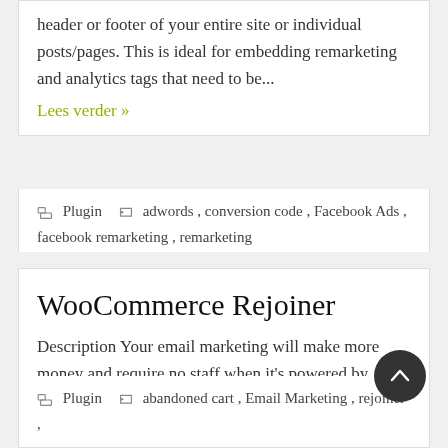header or footer of your entire site or individual posts/pages. This is ideal for embedding remarketing and analytics tags that need to be...
Lees verder »
Plugin   adwords, conversion code, Facebook Ads, facebook remarketing, remarketing
WooCommerce Rejoiner
Description Your email marketing will make more money and require no staff when it's powered by Rejoiner. Rejoiner is the only email marketing solution that's accountable for your entire email...
Lees verder »
Plugin   abandoned cart, Email Marketing, rejoiner,